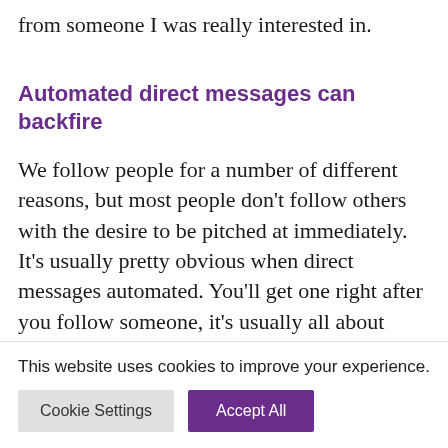from someone I was really interested in.
Automated direct messages can backfire
We follow people for a number of different reasons, but most people don’t follow others with the desire to be pitched at immediately. It’s usually pretty obvious when direct messages automated. You’ll get one right after you follow someone, it’s usually all about them, and will
This website uses cookies to improve your experience.
Cookie Settings
Accept All